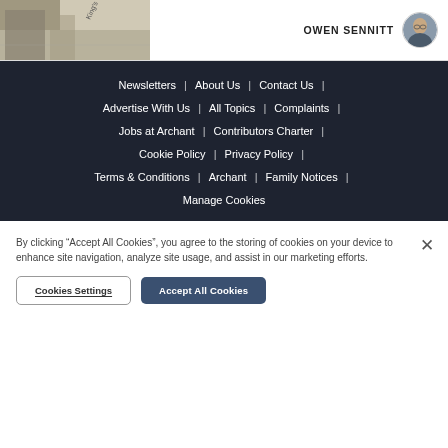[Figure (photo): Street view map thumbnail showing 'King's' street label]
OWEN SENNITT
[Figure (photo): Circular author avatar photo of Owen Sennitt]
Newsletters | About Us | Contact Us | Advertise With Us | All Topics | Complaints | Jobs at Archant | Contributors Charter | Cookie Policy | Privacy Policy | Terms & Conditions | Archant | Family Notices | Manage Cookies
By clicking "Accept All Cookies", you agree to the storing of cookies on your device to enhance site navigation, analyze site usage, and assist in our marketing efforts.
Cookies Settings
Accept All Cookies